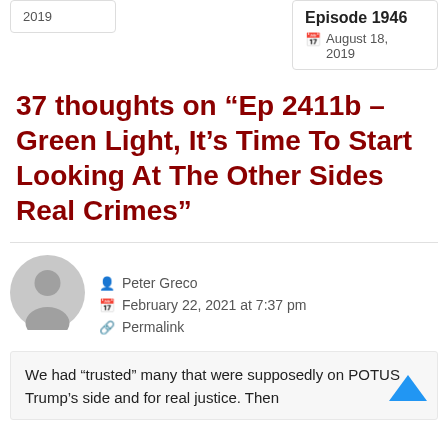2019
Episode 1946
August 18, 2019
37 thoughts on “Ep 2411b – Green Light, It’s Time To Start Looking At The Other Sides Real Crimes”
Peter Greco
February 22, 2021 at 7:37 pm
Permalink
We had “trusted” many that were supposedly on POTUS Trump’s side and for real justice. Then